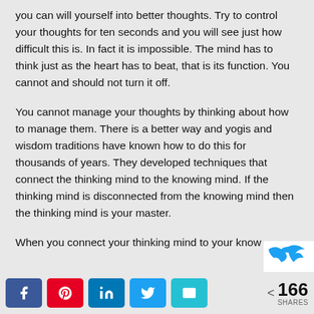you can will yourself into better thoughts. Try to control your thoughts for ten seconds and you will see just how difficult this is. In fact it is impossible. The mind has to think just as the heart has to beat, that is its function. You cannot and should not turn it off.
You cannot manage your thoughts by thinking about how to manage them. There is a better way and yogis and wisdom traditions have known how to do this for thousands of years. They developed techniques that connect the thinking mind to the knowing mind. If the thinking mind is disconnected from the knowing mind then the thinking mind is your master.
When you connect your thinking mind to your know
[Figure (infographic): Social share bar with Facebook, Pinterest, LinkedIn, Twitter, Email buttons and share count of 166]